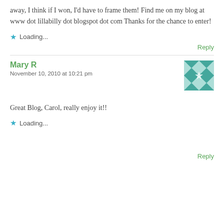away, I think if I won, I'd have to frame them! Find me on my blog at www dot lillabilly dot blogspot dot com Thanks for the chance to enter!
Loading...
Reply
Mary R
November 10, 2010 at 10:21 pm
[Figure (illustration): Decorative avatar with teal geometric quilt-like pattern]
Great Blog, Carol, really enjoy it!!
Loading...
Reply